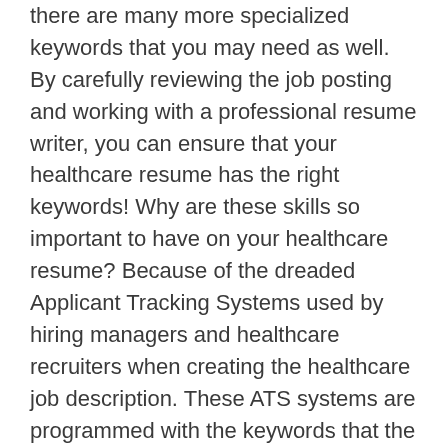there are many more specialized keywords that you may need as well. By carefully reviewing the job posting and working with a professional resume writer, you can ensure that your healthcare resume has the right keywords! Why are these skills so important to have on your healthcare resume? Because of the dreaded Applicant Tracking Systems used by hiring managers and healthcare recruiters when creating the healthcare job description. These ATS systems are programmed with the keywords that the hiring manager feels are most appropriate for their position. These keywords could be slightly different from the exact same job but at a different hospital created by a different HR manager.
It is important to not only match the job title with your branding title but also to match the keywords. A